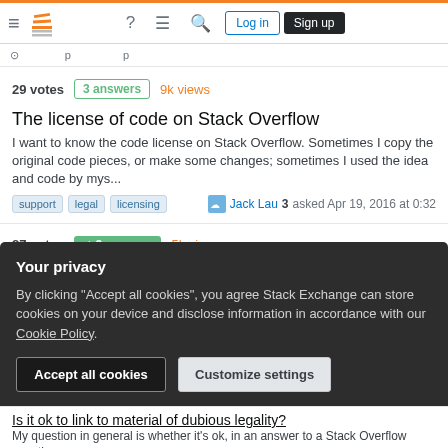Stack Overflow navigation bar with hamburger menu, logo, help, chat, search icons, Log in and Sign up buttons
29 votes   3 answers   9k views
The license of code on Stack Overflow
I want to know the code license on Stack Overflow. Sometimes I copy the original code pieces, or make some changes; sometimes I used the idea and code by mys...
support   legal   licensing   Jack Lau 3   asked Apr 19, 2016 at 0:32
87 votes   2 answers   5k views
Question is a Copyright Violation?
When going through the review queue for suggested edits this question came up. The editor noted that the question add...
Your privacy
By clicking "Accept all cookies", you agree Stack Exchange can store cookies on your device and disclose information in accordance with our Cookie Policy.
Accept all cookies   Customize settings
Is it ok to link to material of dubious legality?
My question in general is whether it's ok, in an answer to a Stack Overflow question